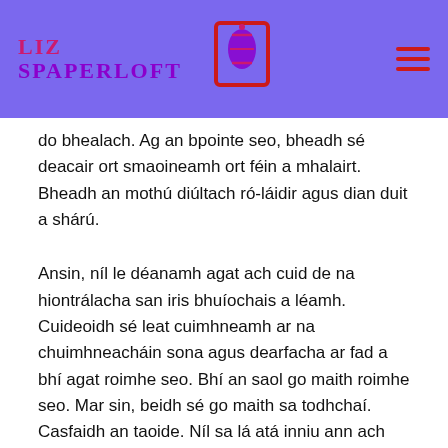[Figure (logo): Liz Spaperloft logo with corset icon on purple header bar]
do bhealach. Ag an bpointe seo, bheadh sé deacair ort smaoineamh ort féin a mhalairt. Bheadh an mothú diúltach ró-láidir agus dian duit a shárú.
Ansin, níl le déanamh agat ach cuid de na hiontrálacha san iris bhuíochais a léamh. Cuideoidh sé leat cuimhneamh ar na chuimhneacháin sona agus dearfacha ar fad a bhí agat roimhe seo. Bhí an saol go maith roimhe seo. Mar sin, beidh sé go maith sa todhchaí. Casfaidh an taoide. Níl sa lá atá inniu ann ach céim shealadach.